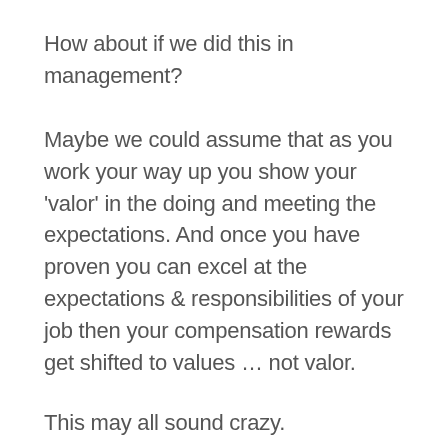How about if we did this in management?
Maybe we could assume that as you work your way up you show your 'valor' in the doing and meeting the expectations. And once you have proven you can excel at the expectations & responsibilities of your job then your compensation rewards get shifted to values … not valor.
This may all sound crazy.
But think about it.